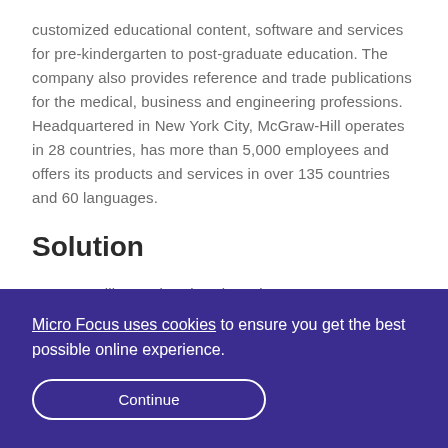customized educational content, software and services for pre-kindergarten to post-graduate education. The company also provides reference and trade publications for the medical, business and engineering professions. Headquartered in New York City, McGraw-Hill operates in 28 countries, has more than 5,000 employees and offers its products and services in over 135 countries and 60 languages.
Solution
McGraw-Hill was already using Micro Focus LoadRunner Enterprise and Micro Focus LoadRunner Professional so it
Micro Focus uses cookies to ensure you get the best possible online experience.
Continue